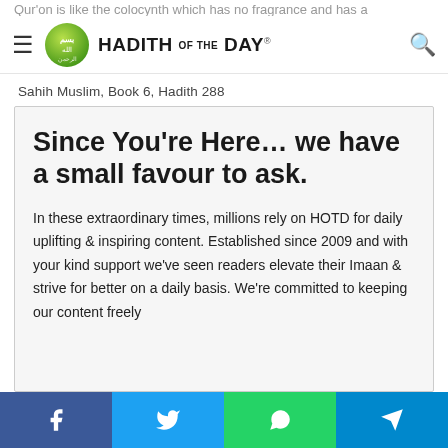HADITH OF THE DAY
Qur'on is like the colocynth which has no fragrance and has a
Sahih Muslim, Book 6, Hadith 288
Since You're Here… we have a small favour to ask.
In these extraordinary times, millions rely on HOTD for daily uplifting & inspiring content. Established since 2009 and with your kind support we've seen readers elevate their Imaan & strive for better on a daily basis. We're committed to keeping our content freely